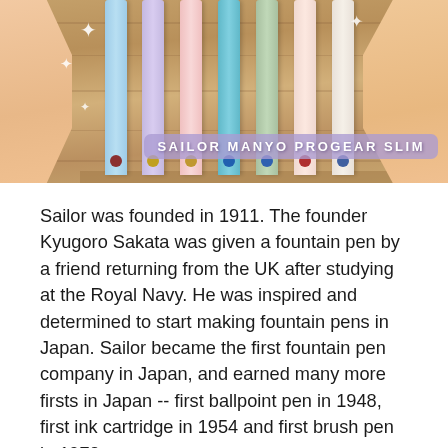[Figure (photo): Photo of several colorful slim fountain pens (Sailor Manyo ProGear Slim) arranged on a wooden surface, with a hand visible on the left and sparkle/diamond decorations. An overlay label reads 'SAILOR MANYO PROGEAR SLIM' in white bold text on a purple-tinted banner.]
Sailor was founded in 1911. The founder Kyugoro Sakata was given a fountain pen by a friend returning from the UK after studying at the Royal Navy. He was inspired and determined to start making fountain pens in Japan. Sailor became the first fountain pen company in Japan, and earned many more firsts in Japan -- first ballpoint pen in 1948, first ink cartridge in 1954 and first brush pen in 1972, etc.
In the 1970's, Sailor made a popular beginner fountain pen, "Candy," that sold more than 15 million within a few years. However, the number of the fountain pen users were declining as ballpoint pens became more mainstream.
In 1981, Sailor decided to go in the opposite direction